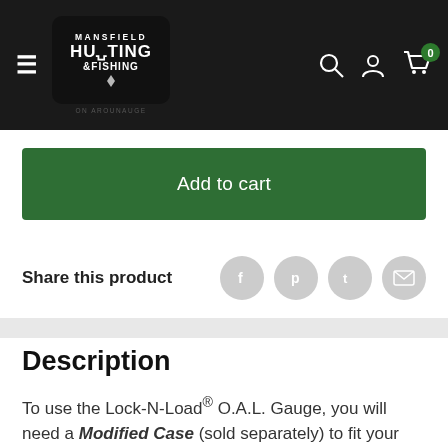[Figure (logo): Mansfield Hunting & Fishing store logo, white text on black rounded rectangle background]
Add to cart
Share this product
Description
To use the Lock-N-Load® O.A.L. Gauge, you will need a Modified Case (sold separately) to fit your firearm's chamber and chamber the case. The case shall